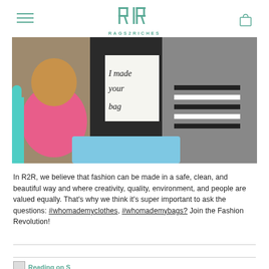RAGS2RICHES
[Figure (photo): Three women sitting together, one holding a sign reading 'I made your bag', in what appears to be a workshop or community space.]
In R2R, we believe that fashion can be made in a safe, clean, and beautiful way and where creativity, quality, environment, and people are valued equally. That's why we think it's super important to ask the questions: #whomademyclothes, #whomademybags? Join the Fashion Revolution!